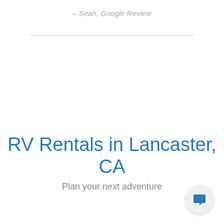– Sean, Google Review
RV Rentals in Lancaster, CA
Plan your next adventure